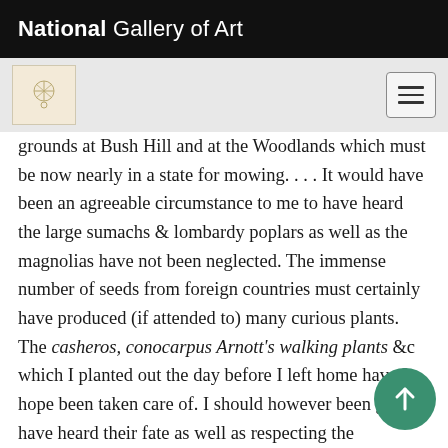National Gallery of Art
grounds at Bush Hill and at the Woodlands which must be now nearly in a state for mowing. . . . It would have been an agreeable circumstance to me to have heard the large sumachs & lombardy poplars as well as the magnolias have not been neglected. The immense number of seeds from foreign countries must certainly have produced (if attended to) many curious plants. The casheros, conocarpus Arnott's walking plants &c which I planted out the day before I left home have I hope been taken care of. I should however been glad to have heard their fate as well as respecting the Gooseberry Antwerp Raspberries given me by Dr Parke. After